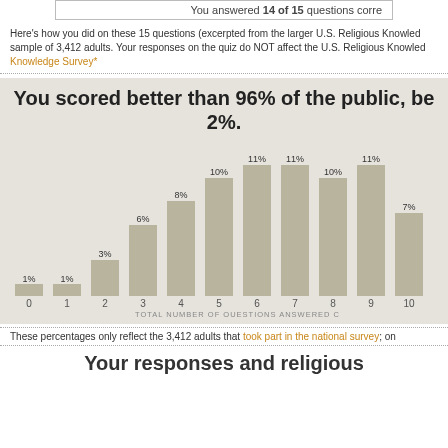You answered 14 of 15 questions corre
Here's how you did on these 15 questions (excerpted from the larger U.S. Religious Knowled sample of 3,412 adults. Your responses on the quiz do NOT affect the U.S. Religious Knowledge Knowledge Survey*
[Figure (bar-chart): You scored better than 96% of the public, be 2%.]
These percentages only reflect the 3,412 adults that took part in the national survey; on
Your responses and religious